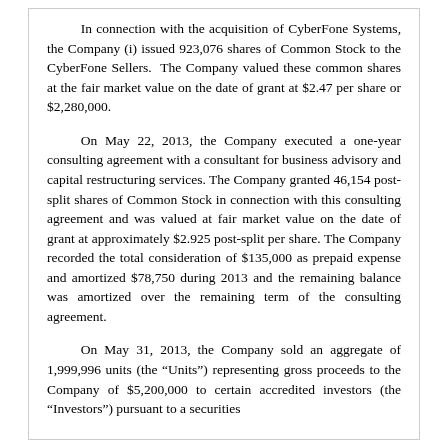In connection with the acquisition of CyberFone Systems, the Company (i) issued 923,076 shares of Common Stock to the CyberFone Sellers. The Company valued these common shares at the fair market value on the date of grant at $2.47 per share or $2,280,000.
On May 22, 2013, the Company executed a one-year consulting agreement with a consultant for business advisory and capital restructuring services. The Company granted 46,154 post-split shares of Common Stock in connection with this consulting agreement and was valued at fair market value on the date of grant at approximately $2.925 post-split per share. The Company recorded the total consideration of $135,000 as prepaid expense and amortized $78,750 during 2013 and the remaining balance was amortized over the remaining term of the consulting agreement.
On May 31, 2013, the Company sold an aggregate of 1,999,996 units (the “Units”) representing gross proceeds to the Company of $5,200,000 to certain accredited investors (the “Investors”) pursuant to a securities